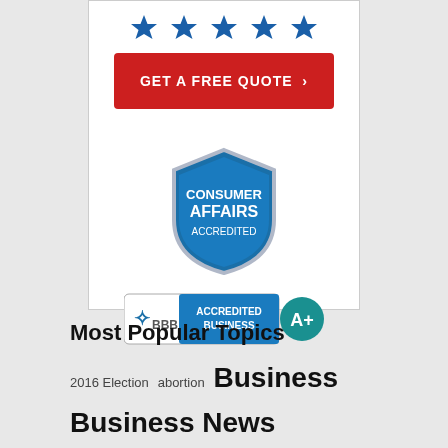[Figure (illustration): White card with 5 blue stars at top, a red 'GET A FREE QUOTE' button with arrow, a Consumer Affairs Accredited shield badge, and a BBB Accredited Business A+ badge]
Most Popular Topics
2016 Election  abortion  Business  Business News  California  Canada  casting news  Celebrity News  Christianity